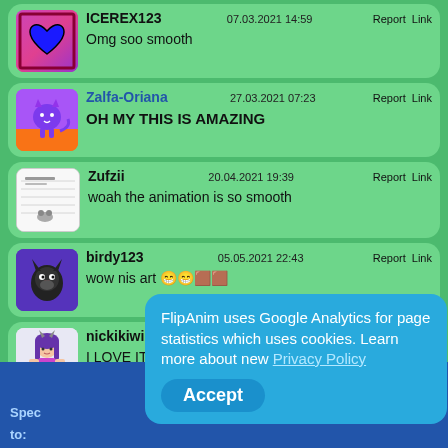ICEREX123 07.03.2021 14:59 | Report Link
Omg soo smooth
Zalfa-Oriana 27.03.2021 07:23 | Report Link
OH MY THIS IS AMAZING
Zufzii 20.04.2021 19:39 | Report Link
woah the animation is so smooth
birdy123 05.05.2021 22:43 | Report Link
wow nis art 😊😊🟫🟫
nickikiwi123 29.05.2021 23:15 | Report Link
I LOVE IT UwU
FlipAnim uses Google Analytics for page statistics which uses cookies. Learn more about new Privacy Policy
Accept
Spec
to: